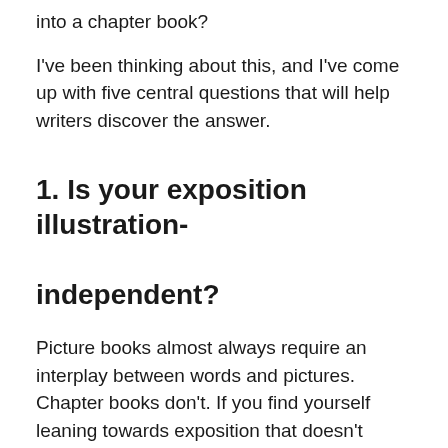into a chapter book?
I've been thinking about this, and I've come up with five central questions that will help writers discover the answer.
1. Is your exposition illustration-independent?
Picture books almost always require an interplay between words and pictures. Chapter books don't. If you find yourself leaning towards exposition that doesn't require illustration, you might have a chapter book on your hands.
As a quick explanation or reminder, exposition is the